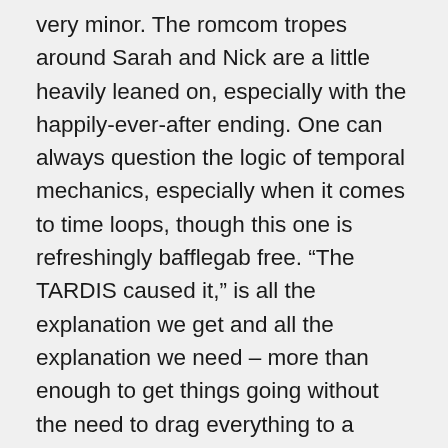very minor. The romcom tropes around Sarah and Nick are a little heavily leaned on, especially with the happily-ever-after ending. One can always question the logic of temporal mechanics, especially when it comes to time loops, though this one is refreshingly bafflegab free. “The TARDIS caused it,” is all the explanation we get and all the explanation we need – more than enough to get things going without the need to drag everything to a standstill and staring explaining that it’s actually a temporal hysteresis or something. The Daleks can't hit anything for shit, even with their impressive new Gatling guns, but that’s pretty much a trope at this stage as much as it is a criticism (and fair enough – they do get plenty of exterminations in even if a human running down a corridor poses a challenge to their targeting systems). And the whole storage